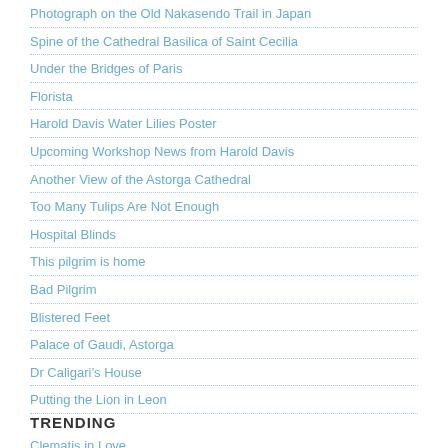Photograph on the Old Nakasendo Trail in Japan
Spine of the Cathedral Basilica of Saint Cecilia
Under the Bridges of Paris
Florista
Harold Davis Water Lilies Poster
Upcoming Workshop News from Harold Davis
Another View of the Astorga Cathedral
Too Many Tulips Are Not Enough
Hospital Blinds
This pilgrim is home
Bad Pilgrim
Blistered Feet
Palace of Gaudi, Astorga
Dr Caligari’s House
Putting the Lion in Leon
TRENDING
Clematis in Love
Summer Bouquet